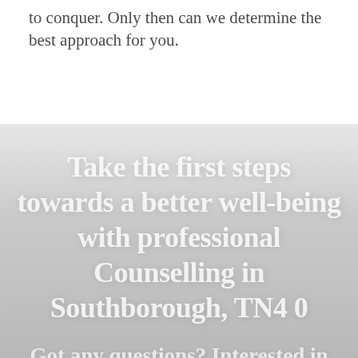to conquer. Only then can we determine the best approach for you.
Take the first steps towards a better well-being with professional Counselling in Southborough, TN4 0
Got any questions? Interested in booking a session? Get in touch to start your journey.